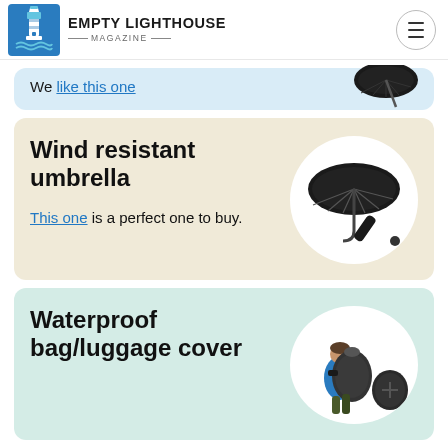EMPTY LIGHTHOUSE MAGAZINE
We like this one
Wind resistant umbrella
This one is a perfect one to buy.
Waterproof bag/luggage cover
[Figure (photo): Black compact folding umbrella shown open and closed]
[Figure (photo): Person wearing a blue jacket with a large waterproof backpack cover and luggage cover accessories]